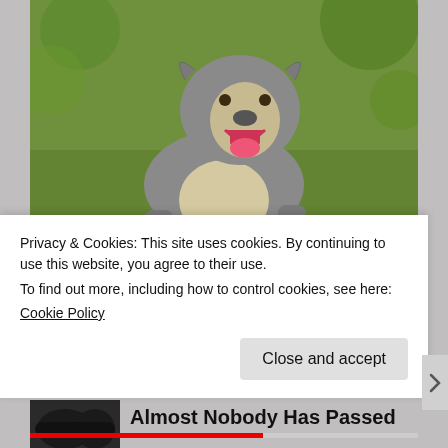[Figure (photo): A pitbull dog standing on grass, looking toward the camera with mouth open, gray and white coloring]
[Photos] Toddler Missing For 2 Days: Man Opens Door, Realizes Pitbull Had...
12Up
[Figure (photo): Small thumbnail image of dark colored headphones or object]
Almost Nobody Has Passed
Privacy & Cookies: This site uses cookies. By continuing to use this website, you agree to their use.
To find out more, including how to control cookies, see here:
Cookie Policy
Close and accept